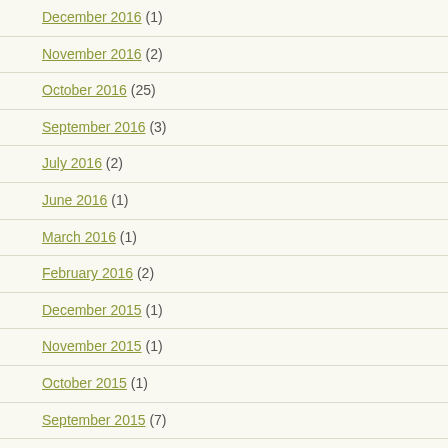December 2016 (1)
November 2016 (2)
October 2016 (25)
September 2016 (3)
July 2016 (2)
June 2016 (1)
March 2016 (1)
February 2016 (2)
December 2015 (1)
November 2015 (1)
October 2015 (1)
September 2015 (7)
August 2015 (1)